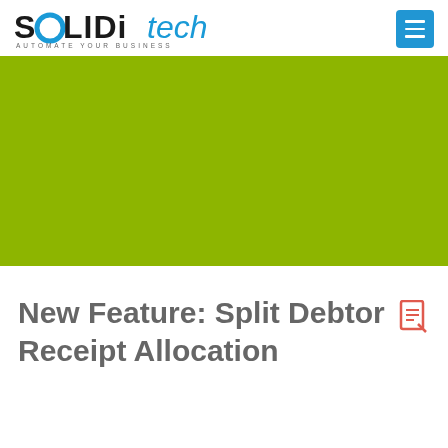[Figure (logo): SOLIDitech logo with tagline AUTOMATE YOUR BUSINESS and a blue menu button in the top right corner]
[Figure (illustration): Large olive/yellow-green colored rectangular hero image banner]
New Feature: Split Debtor Receipt Allocation